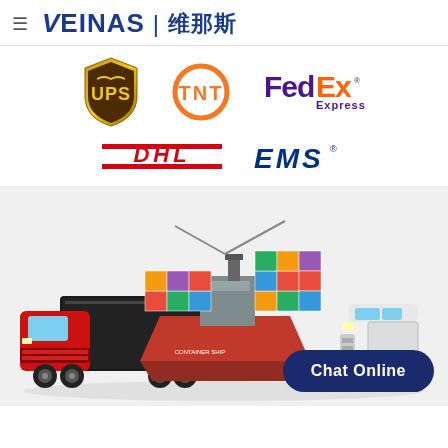VEINAS | 维那斯
[Figure (logo): UPS courier service logo - brown shield with UPS text]
[Figure (logo): TNT courier service logo - orange circle with TNT text]
[Figure (logo): FedEx Express courier service logo - purple and orange FedEx text with Express subtitle]
[Figure (logo): DHL courier service logo - red and yellow DHL text with horizontal lines]
[Figure (logo): EMS courier service logo - blue EMS text with registered trademark]
[Figure (illustration): Shipping logistics illustration showing a red semi-truck, a large container ship loaded with colorful containers, and a white delivery van on a white background]
Chat Online